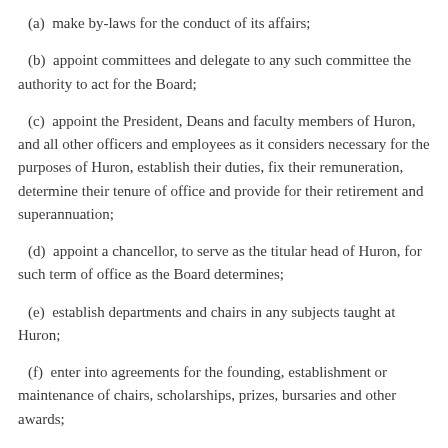(a)  make by-laws for the conduct of its affairs;
(b)  appoint committees and delegate to any such committee the authority to act for the Board;
(c)  appoint the President, Deans and faculty members of Huron, and all other officers and employees as it considers necessary for the purposes of Huron, establish their duties, fix their remuneration, determine their tenure of office and provide for their retirement and superannuation;
(d)  appoint a chancellor, to serve as the titular head of Huron, for such term of office as the Board determines;
(e)  establish departments and chairs in any subjects taught at Huron;
(f)  enter into agreements for the founding, establishment or maintenance of chairs, scholarships, prizes, bursaries and other awards;